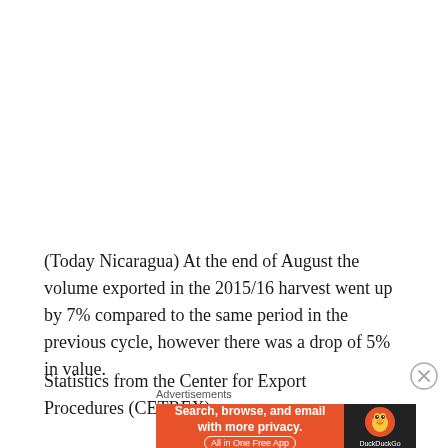(Today Nicaragua) At the end of August the volume exported in the 2015/16 harvest went up by 7% compared to the same period in the previous cycle, however there was a drop of 5% in value.
Statistics from the Center for Export Procedures (CETREX)
[Figure (other): DuckDuckGo advertisement banner: orange background with text 'Search, browse, and email with more privacy. All in One Free App' and DuckDuckGo logo on dark background]